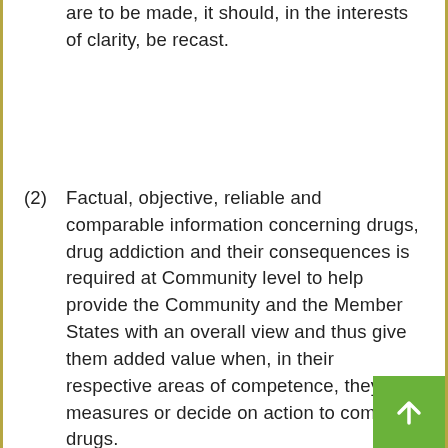are to be made, it should, in the interests of clarity, be recast.
(2) Factual, objective, reliable and comparable information concerning drugs, drug addiction and their consequences is required at Community level to help provide the Community and the Member States with an overall view and thus give them added value when, in their respective areas of competence, they take measures or decide on action to combat drugs.